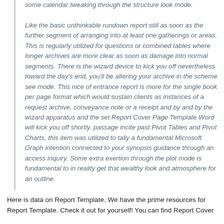some calendar tweaking through the structure look mode.

Like the basic unthinkable rundown report still as soon as the further segment of arranging into at least one gatherings or areas. This is regularly utilized for questions or combined tables where longer archives are more clear as soon as damage into normal segments. There is the wizard device to kick you off nevertheless toward the day's end, you'll be altering your archive in the scheme see mode. This nice of entrance report is more for the single book per page format which would sustain clients as instances of a request archive, conveyance note or a receipt and by and by the wizard apparatus and the set Report Cover Page Template Word will kick you off shortly. passage incite past Pivot Tables and Pivot Charts, this item was utilized to tally a fundamental Microsoft Graph intention connected to your synopsis guidance through an access inquiry. Some extra exertion through the plot mode is fundamental to in reality get that wealthy look and atmosphere for an outline.
Here is data on Report Template. We have the prime resources for Report Template. Check it out for yourself! You can find Report Cover